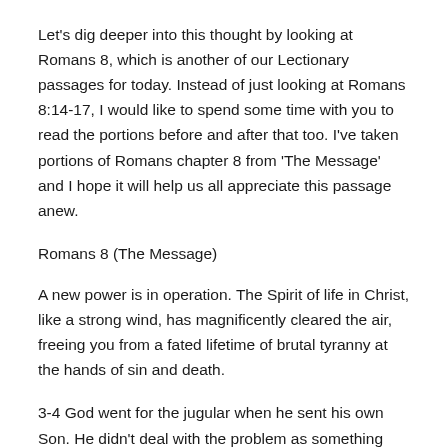Let's dig deeper into this thought by looking at Romans 8, which is another of our Lectionary passages for today. Instead of just looking at Romans 8:14-17, I would like to spend some time with you to read the portions before and after that too. I've taken portions of Romans chapter 8 from 'The Message' and I hope it will help us all appreciate this passage anew.
Romans 8 (The Message)
A new power is in operation. The Spirit of life in Christ, like a strong wind, has magnificently cleared the air, freeing you from a fated lifetime of brutal tyranny at the hands of sin and death.
3-4 God went for the jugular when he sent his own Son. He didn't deal with the problem as something remote